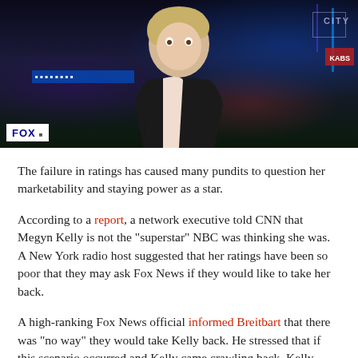[Figure (photo): A female TV news anchor with short blonde hair wearing a black and white outfit, appearing on Fox News with a nighttime city background behind her. A FOX logo watermark is visible in the lower left corner.]
The failure in ratings has caused many pundits to question her marketability and staying power as a star.
According to a report, a network executive told CNN that Megyn Kelly is not the "superstar" NBC was thinking she was. A New York radio host suggested that her ratings have been so poor that they may ask Fox News if they would like to take her back.
A high-ranking Fox News official informed Breitbart that there was "no way" they would take Kelly back. He stressed that if this scenario occurred and Kelly came crawling back, Kelly would "not